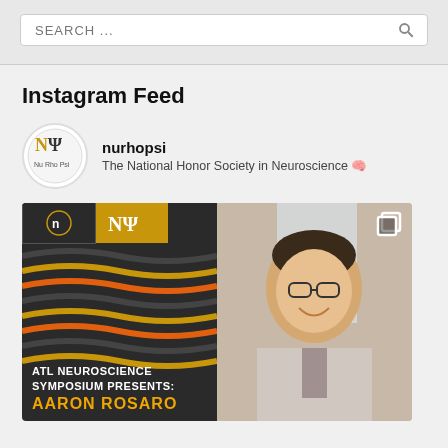SEARCH ...
Instagram Feed
nurhopsi
The National Honor Society in Neuroscience 🧠
[Figure (photo): Instagram post from nurhopsi showing ATL Neuroscience Symposium Presents: Aaron Rosado, with wavy dark background on the left and a photo of a smiling young man with glasses on the right.]